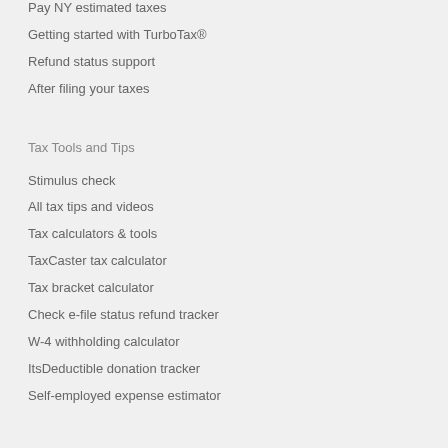Pay NY estimated taxes
Getting started with TurboTax®
Refund status support
After filing your taxes
Tax Tools and Tips
Stimulus check
All tax tips and videos
Tax calculators & tools
TaxCaster tax calculator
Tax bracket calculator
Check e-file status refund tracker
W-4 withholding calculator
ItsDeductible donation tracker
Self-employed expense estimator
Social
TurboTax customer reviews
TurboTax blog
Invite-a-Friend Referral
TurboTax Super Bowl commercial